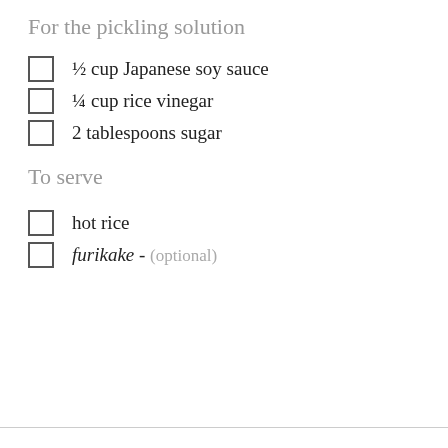For the pickling solution
½ cup Japanese soy sauce
¼ cup rice vinegar
2 tablespoons sugar
To serve
hot rice
furikake - (optional)